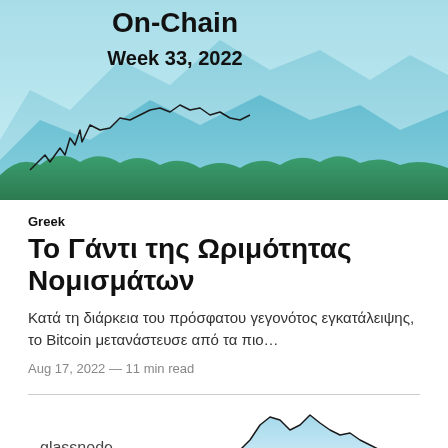[Figure (illustration): Glassnode On-Chain banner image with mountain landscape in teal and green tones, with a line chart overlay. Text reads 'On-Chain' and 'Week 33, 2022'.]
Greek
Το Γάντι της Ωριμότητας Νομισμάτων
Κατά τη διάρκεια του πρόσφατου γεγονότος εγκατάλειψης, το Bitcoin μετανάστευσε από τα πιο...
Aug 17, 2022 — 11 min read
[Figure (continuous-plot): Glassnode chart with a line graph showing Bitcoin market data, blue shaded area underneath the line, with 'glassnode' label and partial title 'Еженедельный' visible at bottom.]